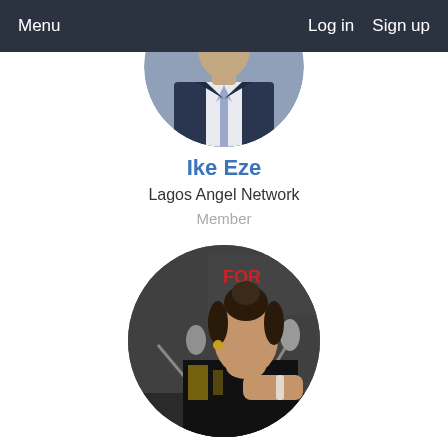Menu   Log in   Sign up
[Figure (photo): Circular profile photo of Ike Eze, partially cropped, showing a man in a suit with a tie]
Ike Eze
Lagos Angel Network
Member
[Figure (photo): Circular profile photo of Maya Horgan Famodu, showing a woman at a panel with microphones]
MAYA HORGAN FAMODU